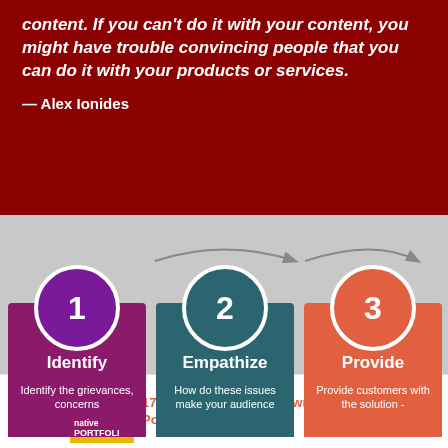content. If you can't do it with your content, you might have trouble convincing people that you can do it with your products or services.
— Alex Ionides
[Figure (infographic): Three-step numbered process infographic on gray background. Step 1 (purple circle): Identify - Identify the grievances, concerns. Step 2 (teal circle): Empathize - How do these issues make your audience. Step 3 (orange circle): Provide - Provide customers with the solution. Arrows connect each step.]
17 Tips to Create Your Own Writing Portfolio Website